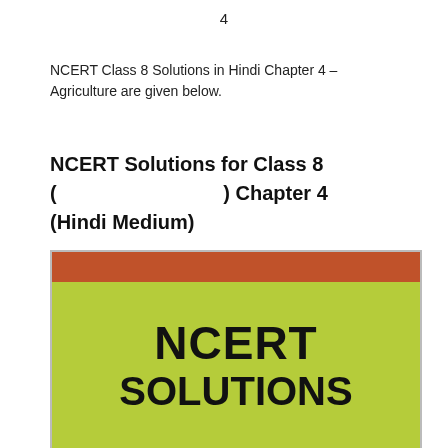4
NCERT Class 8 Solutions in Hindi Chapter 4 – Agriculture are given below.
NCERT Solutions for Class 8 (                    ) Chapter 4 (Hindi Medium)
[Figure (illustration): Book cover image with orange top bar and green/yellow background. Text reads 'NCERT SOLUTIONS' in large bold black letters.]